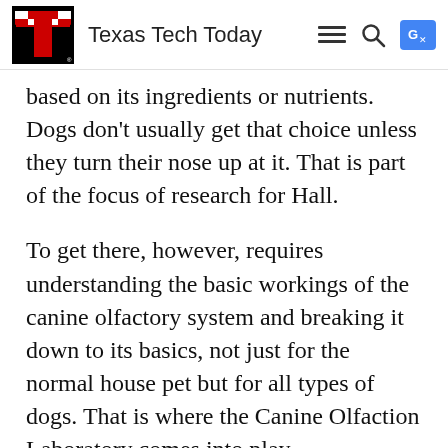Texas Tech Today
based on its ingredients or nutrients. Dogs don't usually get that choice unless they turn their nose up at it. That is part of the focus of research for Hall.
To get there, however, requires understanding the basic workings of the canine olfactory system and breaking it down to its basics, not just for the normal house pet but for all types of dogs. That is where the Canine Olfaction Laboratory comes into play.
The lab, renovations to which were completed this summer, has capacity to house 12 dogs and has two